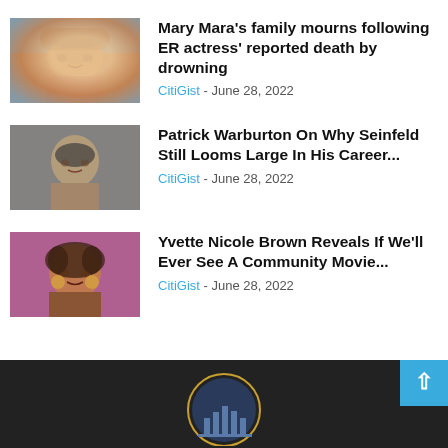[Figure (photo): Headshot of Mary Mara, a woman with bangs, smiling, light blue background]
Mary Mara’s family mourns following ER actress’ reported death by drowning
CitiGist - June 28, 2022
[Figure (photo): Headshot of Patrick Warburton, a man in gray background]
Patrick Warburton On Why Seinfeld Still Looms Large In His Career...
CitiGist - June 28, 2022
[Figure (photo): Headshot of Yvette Nicole Brown, a woman with curly hair, pink/magenta background]
Yvette Nicole Brown Reveals If We’ll Ever See A Community Movie...
CitiGist - June 28, 2022
[Figure (logo): CitiGist logo partially visible in dark footer area]